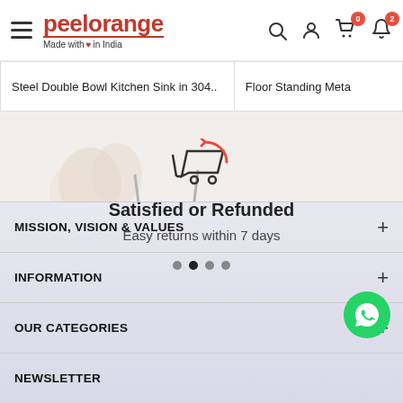[Figure (logo): Peelorange logo with tagline 'Made with heart in India']
Steel Double Bowl Kitchen Sink in 304..
Floor Standing Meta
[Figure (illustration): Return/refund cart icon with decorative kitchen items in background]
Satisfied or Refunded
Easy returns within 7 days
MISSION, VISION & VALUES
INFORMATION
OUR CATEGORIES
NEWSLETTER